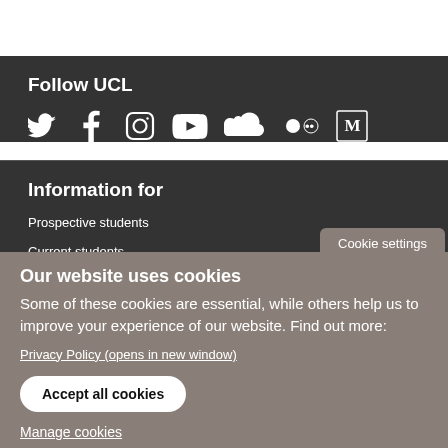Follow UCL
[Figure (infographic): Row of social media icons: Twitter, Facebook, Instagram, YouTube, SoundCloud, Flickr, Medium]
Information for
Prospective students
Current students
Cookie settings
Our website uses cookies
Some of these cookies are essential, while others help us to improve your experience of our website. Find out more:
Privacy Policy (opens in new window)
Accept all cookies
Manage cookies